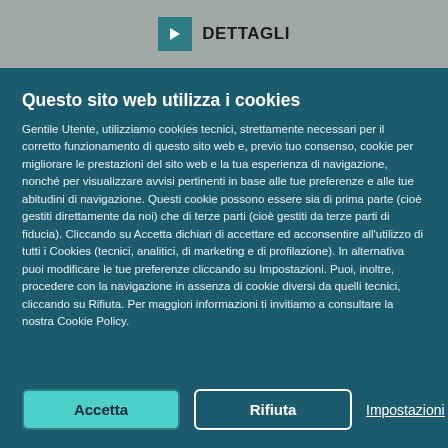[Figure (screenshot): Top grey bar with a teal arrow button and 'DETTAGLI' label]
Questo sito web utilizza i cookies
Gentile Utente, utilizziamo cookies tecnici, strettamente necessari per il corretto funzionamento di questo sito web e, previo tuo consenso, cookie per migliorare le prestazioni del sito web e la tua esperienza di navigazione, nonché per visualizzare avvisi pertinenti in base alle tue preferenze e alle tue abitudini di navigazione. Questi cookie possono essere sia di prima parte (cioè gestiti direttamente da noi) che di terze parti (cioè gestiti da terze parti di fiducia). Cliccando su Accetta dichiari di accettare ed acconsentire all'utilizzo di tutti i Cookies (tecnici, analitici, di marketing e di profilazione). In alternativa puoi modificare le tue preferenze cliccando su Impostazioni. Puoi, inoltre, procedere con la navigazione in assenza di cookie diversi da quelli tecnici, cliccando su Rifiuta. Per maggiori informazioni ti invitiamo a consultare la nostra Cookie Policy.
Accetta
Rifiuta
Impostazioni